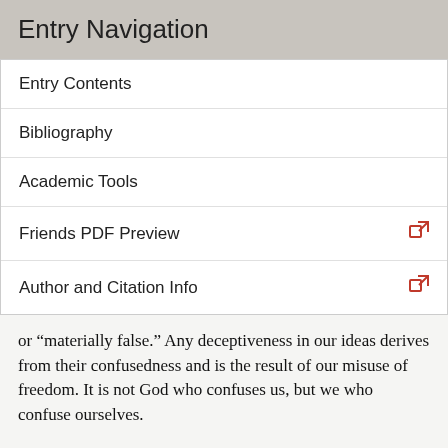Entry Navigation
Entry Contents
Bibliography
Academic Tools
Friends PDF Preview
Author and Citation Info
or “materially false.” Any deceptiveness in our ideas derives from their confusedness and is the result of our misuse of freedom. It is not God who confuses us, but we who confuse ourselves.
Arnauld also gave a distinctive interpretation of Descartes’ method of doubt. In the “Fourth Objections,” Arnauld offers, as the first of “the problems which a theologian might come up against in the work as a whole,” the following: “I am afraid that the author’s somewhat free style of philosophizing, which calls something into doubt to come across effective grounds…”